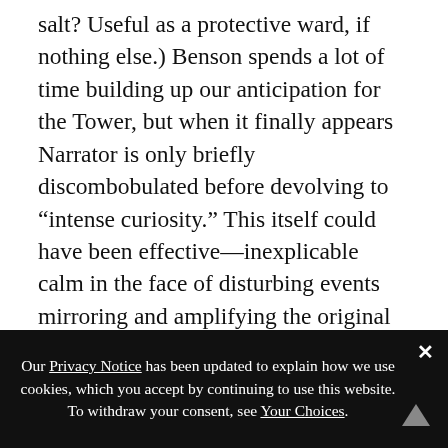salt? Useful as a protective ward, if nothing else.) Benson spends a lot of time building up our anticipation for the Tower, but when it finally appears Narrator is only briefly discombobulated before devolving to “intense curiosity.” This itself could have been effective—inexplicable calm in the face of disturbing events mirroring and amplifying the original dream’s inexplicable terror. But it doesn’t actually achieve that effect. The replacement of Silent, Terrifying Family with Gregarious, Friendly Hosts thoroughly pulls the wind out of the narrative sails. Especially when Narrator’s friend and host proves entirely willing to believe the worst of the portrait, sees everything Narrator sees, and is a helpful ally
Our Privacy Notice has been updated to explain how we use cookies, which you accept by continuing to use this website. To withdraw your consent, see Your Choices.